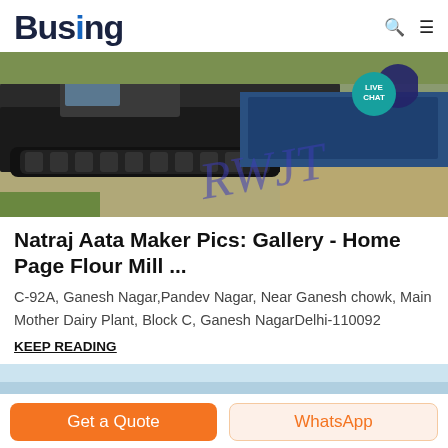Busing
[Figure (photo): Banner image showing a large tracked vehicle/machinery on a road surface, with a cursive blue watermark text 'RWJT' overlaid. A teal 'LIVE CHAT' badge with a chat bubble icon appears in the top right corner.]
Natraj Aata Maker Pics: Gallery - Home Page Flour Mill ...
C-92A, Ganesh Nagar,Pandev Nagar, Near Ganesh chowk, Main Mother Dairy Plant, Block C, Ganesh NagarDelhi-110092
KEEP READING
[Figure (photo): Bottom strip showing the top portion of another image with a light blue sky.]
Get a Quote   WhatsApp